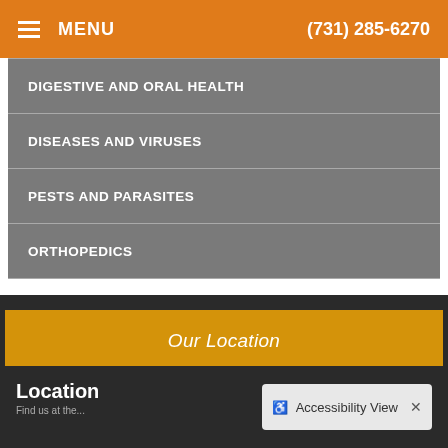MENU  (731) 285-6270
DIGESTIVE AND ORAL HEALTH
DISEASES AND VIRUSES
PESTS AND PARASITES
ORTHOPEDICS
Our Location
Location
Accessibility View